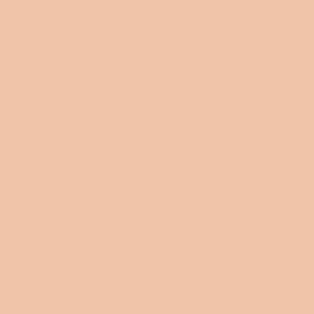March but w... Bill particula... my own Ten... measures p... cybercrime p...
2005-07-13 Author: Grae... Summary: T... on UK citize... adopts the n... cybercrime p...
2005-04-06 Author: John... Summary: M... mainstream ... MP, chairma... Misuse Act (...
2005-03-30 Author: John... Summary: D... analysts fro... "Well they're... point. The ch...